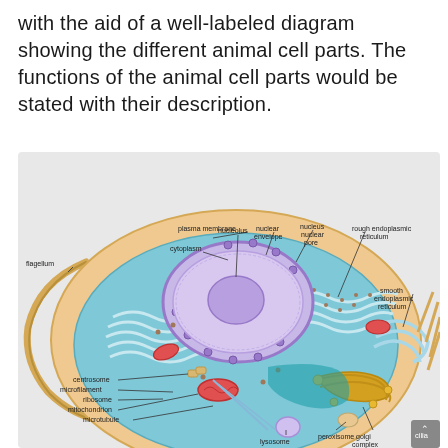with the aid of a well-labeled diagram showing the different animal cell parts. The functions of the animal cell parts would be stated with their description.
[Figure (illustration): A detailed labeled diagram of an animal cell cross-section showing: plasma membrane, cytoplasm, flagellum, nucleolus, nuclear envelope, nucleus, nuclear pore, rough endoplasmic reticulum, smooth endoplasmic reticulum, centrosome, microfilament, ribosome, mitochondrion, microtubule, lysosome, peroxisome, golgi complex, cilia]